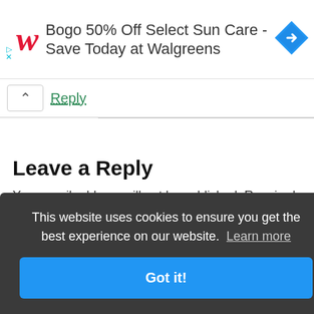[Figure (screenshot): Walgreens advertisement banner: red cursive W logo, text 'Bogo 50% Off Select Sun Care - Save Today at Walgreens', blue diamond navigation icon on right, play/close icons on left]
Reply
Leave a Reply
Your email address will not be published. Required
This website uses cookies to ensure you get the best experience on our website.  Learn more
Got it!